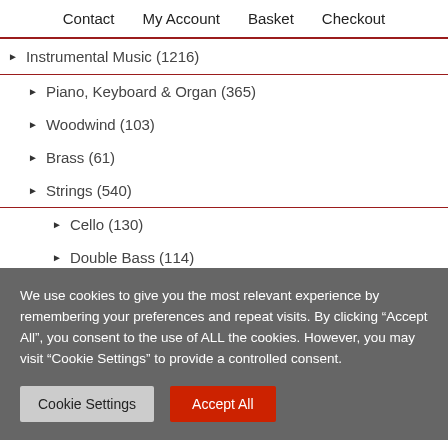Contact   My Account   Basket   Checkout
▶ Instrumental Music (1216)
▶ Piano, Keyboard & Organ (365)
▶ Woodwind (103)
▶ Brass (61)
▶ Strings (540)
▶ Cello (130)
▶ Double Bass (114)
▶ String Ensembles (162)
We use cookies to give you the most relevant experience by remembering your preferences and repeat visits. By clicking "Accept All", you consent to the use of ALL the cookies. However, you may visit "Cookie Settings" to provide a controlled consent.
Cookie Settings   Accept All